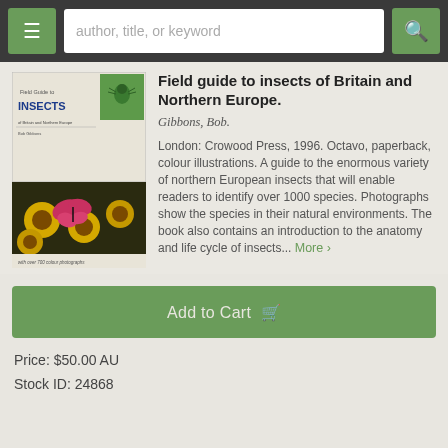author, title, or keyword
Field guide to insects of Britain and Northern Europe.
Gibbons, Bob.
London: Crowood Press, 1996. Octavo, paperback, colour illustrations. A guide to the enormous variety of northern European insects that will enable readers to identify over 1000 species. Photographs show the species in their natural environments. The book also contains an introduction to the anatomy and life cycle of insects... More ›
Add to Cart
Price: $50.00 AU
Stock ID: 24868